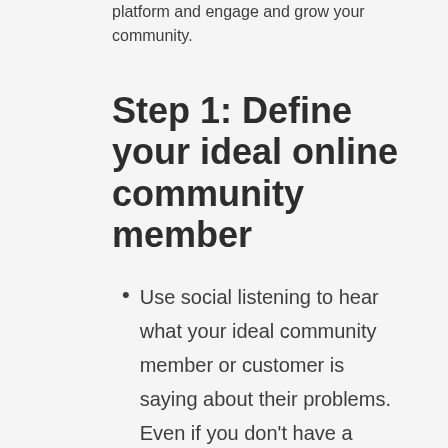platform and engage and grow your community.
Step 1: Define your ideal online community member
Use social listening to hear what your ideal community member or customer is saying about their problems. Even if you don't have a community of your own yet, join similar communities who have your ideal customer in them and observe what people in that